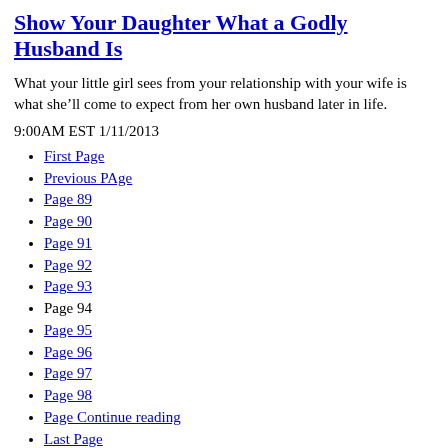Show Your Daughter What a Godly Husband Is
What your little girl sees from your relationship with your wife is what she’ll come to expect from her own husband later in life.
9:00AM EST 1/11/2013
First Page
Previous PAge
Page 89
Page 90
Page 91
Page 92
Page 93
Page 94
Page 95
Page 96
Page 97
Page 98
Page Continue reading
Last Page
Page 94 of 100